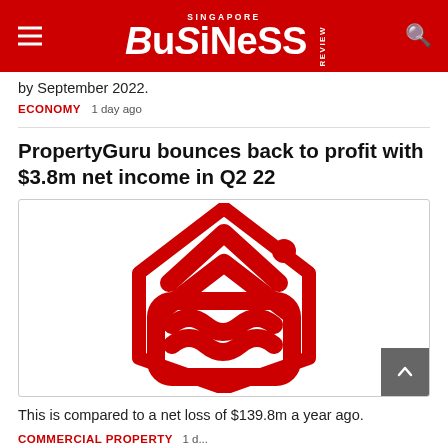Singapore Business Review
by September 2022.
ECONOMY 1 day ago
PropertyGuru bounces back to profit with $3.8m net income in Q2 22
[Figure (logo): PropertyGuru red logo mark — stylized double chevron / house icon in red outline on white background]
This is compared to a net loss of $139.8m a year ago.
COMMERCIAL PROPERTY 1 d...